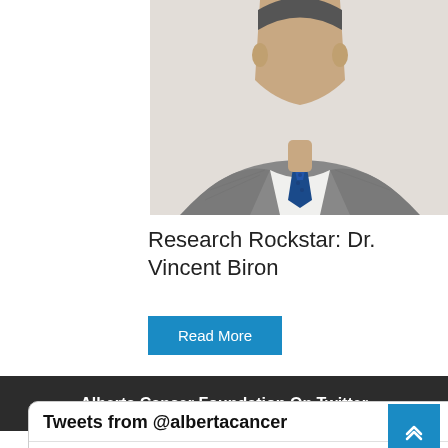[Figure (photo): Portrait photo of Dr. Vincent Biron wearing a grey suit and blue patterned tie, cropped at upper torso, light background]
Research Rockstar: Dr. Vincent Biron
Read More
Alberta Cancer Foundation On Twitter
Tweets from @albertacancer
albertacancer Retweeted
AHS_CancerCare